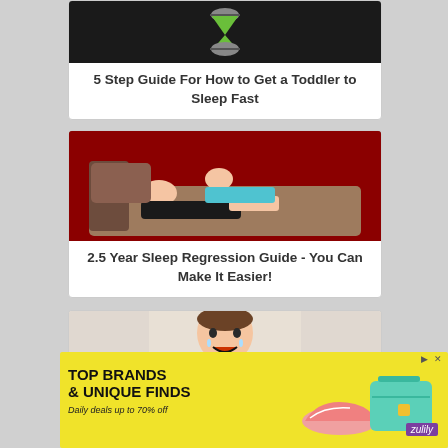[Figure (photo): Hourglass with green sand on dark background]
5 Step Guide For How to Get a Toddler to Sleep Fast
[Figure (photo): Parent and toddler lying on couch/sofa together]
2.5 Year Sleep Regression Guide - You Can Make It Easier!
[Figure (photo): Crying toddler child]
[Figure (other): Zulily advertisement banner: TOP BRANDS & UNIQUE FINDS, Daily deals up to 70% off, showing shoes and handbag]